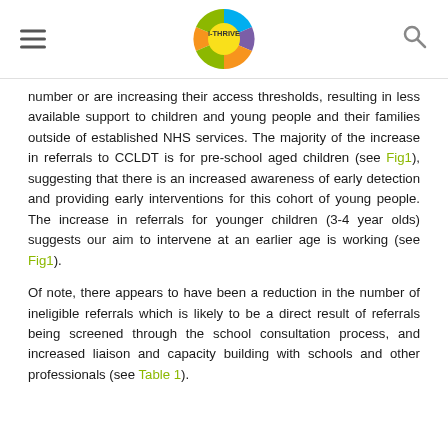i-THRIVE logo with hamburger menu and search icon
number or are increasing their access thresholds, resulting in less available support to children and young people and their families outside of established NHS services. The majority of the increase in referrals to CCLDT is for pre-school aged children (see Fig1), suggesting that there is an increased awareness of early detection and providing early interventions for this cohort of young people. The increase in referrals for younger children (3-4 year olds) suggests our aim to intervene at an earlier age is working (see Fig1).
Of note, there appears to have been a reduction in the number of ineligible referrals which is likely to be a direct result of referrals being screened through the school consultation process, and increased liaison and capacity building with schools and other professionals (see Table 1).